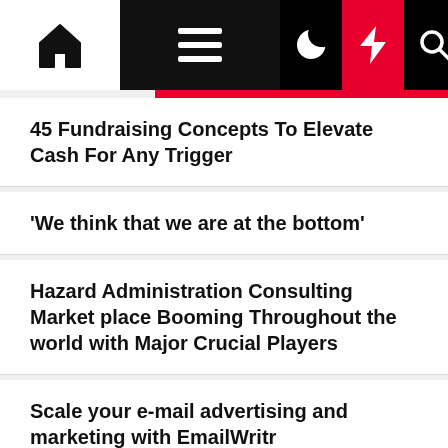Navigation bar with home, menu, moon, lightning, and search icons
45 Fundraising Concepts To Elevate Cash For Any Trigger
‘We think that we are at the bottom’
Hazard Administration Consulting Market place Booming Throughout the world with Major Crucial Players
Scale your e-mail advertising and marketing with EmailWritr
Lyft Shuts Motor vehicle Rental Unit, Cuts About 60 Work
What if the markets are misreading the Fed
Silicon Valley Consulting Team announces the